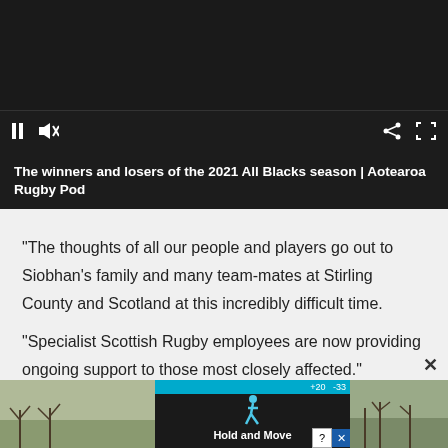[Figure (screenshot): Video player with dark background, playback controls (pause, mute, share, fullscreen icons)]
The winners and losers of the 2021 All Blacks season | Aotearoa Rugby Pod
“The thoughts of all our people and players go out to Siobhan’s family and many team-mates at Stirling County and Scotland at this incredibly difficult time.
“Specialist Scottish Rugby employees are now providing ongoing support to those most closely affected.”
[Figure (screenshot): Advertisement banner: Hold and Move app ad with outdoor/winter background images and teal top bar showing +20 -33]